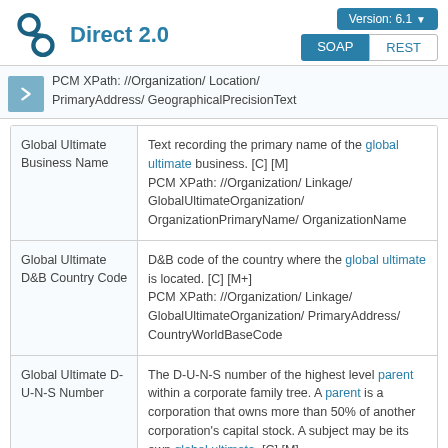D&B Direct 2.0 — Version: 6.1 — SOAP | REST
PCM XPath: //Organization/ Location/ PrimaryAddress/ GeographicalPrecisionText
| Field | Description |
| --- | --- |
| Global Ultimate Business Name | Text recording the primary name of the global ultimate business. [C] [M]
PCM XPath: //Organization/ Linkage/ GlobalUltimateOrganization/ OrganizationPrimaryName/ OrganizationName |
| Global Ultimate D&B Country Code | D&B code of the country where the global ultimate is located. [C] [M+]
PCM XPath: //Organization/ Linkage/ GlobalUltimateOrganization/ PrimaryAddress/ CountryWorldBaseCode |
| Global Ultimate D-U-N-S Number | The D-U-N-S number of the highest level parent within a corporate family tree. A parent is a corporation that owns more than 50% of another corporation's capital stock. A subject may be its own global ultimate. [C] [M] |